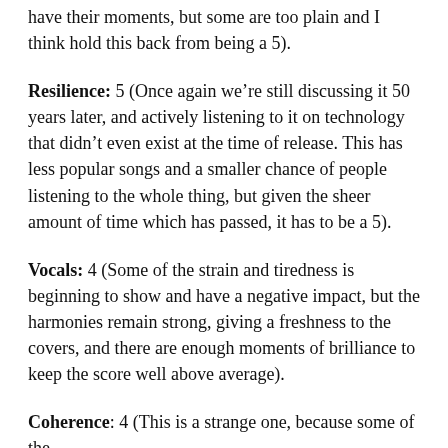have their moments, but some are too plain and I think hold this back from being a 5).
Resilience: 5 (Once again we're still discussing it 50 years later, and actively listening to it on technology that didn't even exist at the time of release. This has less popular songs and a smaller chance of people listening to the whole thing, but given the sheer amount of time which has passed, it has to be a 5).
Vocals: 4 (Some of the strain and tiredness is beginning to show and have a negative impact, but the harmonies remain strong, giving a freshness to the covers, and there are enough moments of brilliance to keep the score well above average).
Coherence: 4 (This is a strange one, because some of the